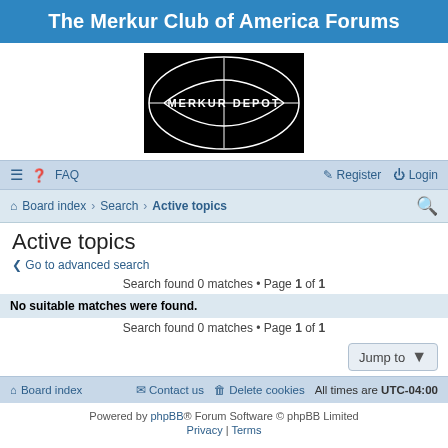The Merkur Club of America Forums
[Figure (logo): Merkur Depot logo — black diamond/rhombus shape with white outline and 'MERKUR DEPOT' text]
≡  FAQ    Register  Login
Board index  Search  Active topics
Active topics
Go to advanced search
Search found 0 matches • Page 1 of 1
No suitable matches were found.
Search found 0 matches • Page 1 of 1
Jump to
Board index  Contact us  Delete cookies  All times are UTC-04:00
Powered by phpBB® Forum Software © phpBB Limited  Privacy | Terms